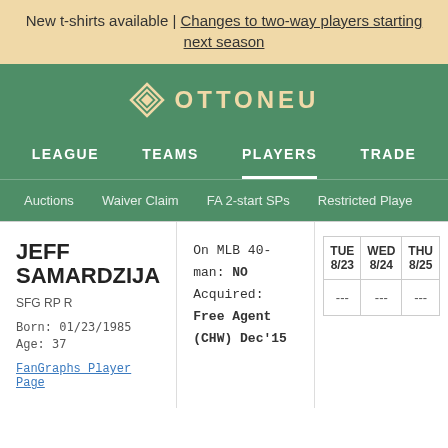New t-shirts available | Changes to two-way players starting next season
[Figure (logo): Ottoneu logo with diamond icon and text OTTONEU]
LEAGUE  TEAMS  PLAYERS  TRADE
Auctions  Waiver Claim  FA 2-start SPs  Restricted Players
JEFF SAMARDZIJA
SFG RP R
Born: 01/23/1985
Age: 37
FanGraphs Player Page
On MLB 40-man: NO
Acquired: Free Agent (CHW) Dec'15
| TUE 8/23 | WED 8/24 | THU 8/25 |
| --- | --- | --- |
| --- | --- | --- |